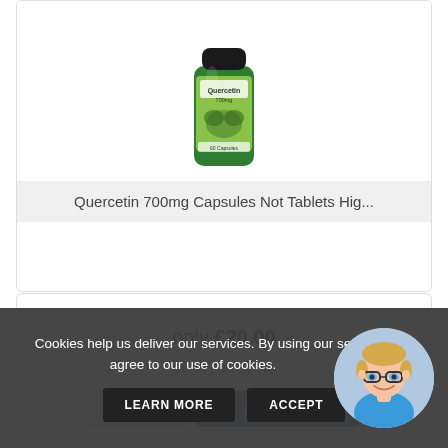[Figure (photo): Quercetin 700mg supplement bottle product image (partial view at top)]
Quercetin 700mg Capsules Not Tablets Hig...
only £20.00
[Figure (other): Five gold star rating icons]
VIEW
ADD TO CART
[Figure (photo): Second product image (partially visible at bottom)]
Cookies help us deliver our services. By using our se... agree to our use of cookies.
LEARN MORE
ACCEPT
[Figure (illustration): Avatar of a person with glasses and blue shirt]